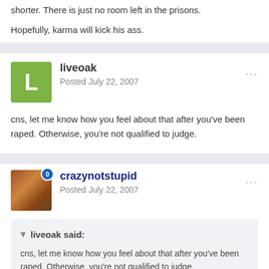shorter. There is just no room left in the prisons.
Hopefully, karma will kick his ass.
liveoak
Posted July 22, 2007
cns, let me know how you feel about that after you've been raped. Otherwise, you're not qualified to judge.
crazynotstupid
Posted July 22, 2007
liveoak said:
cns, let me know how you feel about that after you've been raped. Otherwise, you're not qualified to judge.